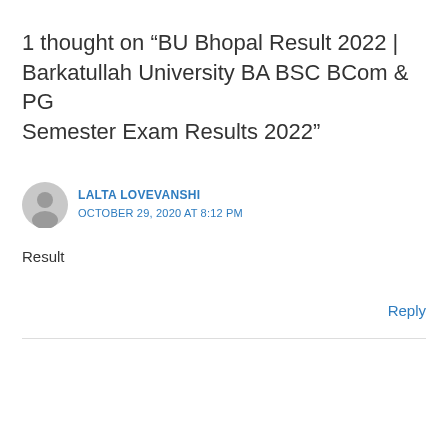1 thought on “BU Bhopal Result 2022 | Barkatullah University BA BSC BCom & PG Semester Exam Results 2022”
LALTA LOVEVANSHI
OCTOBER 29, 2020 AT 8:12 PM
Result
Reply